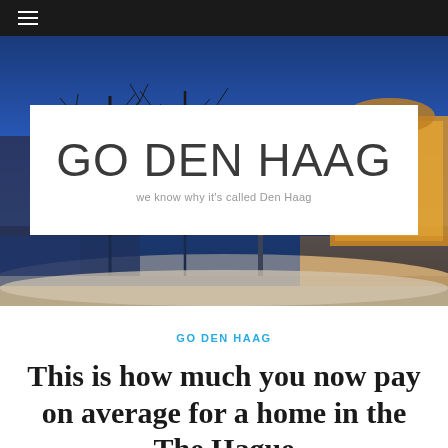≡
[Figure (photo): Twilight view of Den Haag (The Hague) with bare winter trees, illuminated historical buildings and reflections on water, under a deep blue sky.]
GO DEN HAAG
we know why it's called Den Haag
GO DEN HAAG
This is how much you now pay on average for a home in the The Hague